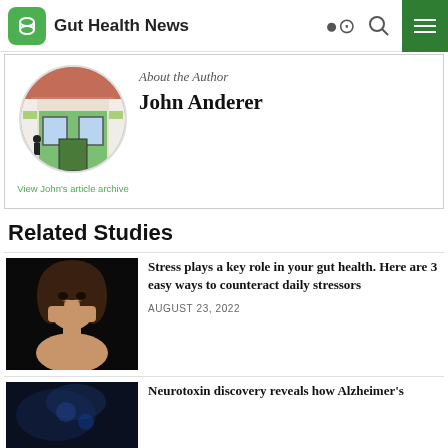Gut Health News
[Figure (photo): Circular profile photo of John Anderer showing a green building exterior]
About the Author
John Anderer
View John's article archive
Related Studies
[Figure (photo): Woman with dark hair looking stressed, hands on her face, dark background]
Stress plays a key role in your gut health. Here are 3 easy ways to counteract daily stressors
AUGUST 23, 2022
[Figure (photo): Dark blue/teal abstract background for Neurotoxin discovery article]
Neurotoxin discovery reveals how Alzheimer's